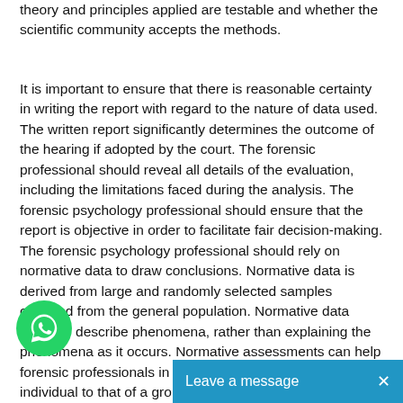theory and principles applied are testable and whether the scientific community accepts the methods.
It is important to ensure that there is reasonable certainty in writing the report with regard to the nature of data used. The written report significantly determines the outcome of the hearing if adopted by the court. The forensic professional should reveal all details of the evaluation, including the limitations faced during the analysis. The forensic psychology professional should ensure that the report is objective in order to facilitate fair decision-making. The forensic psychology professional should rely on normative data to draw conclusions. Normative data is derived from large and randomly selected samples obtained from the general population. Normative data seeks to describe phenomena, rather than explaining the phenomena as it occurs. Normative assessments can help forensic professionals in comparing the behavior of individual to that of a group.